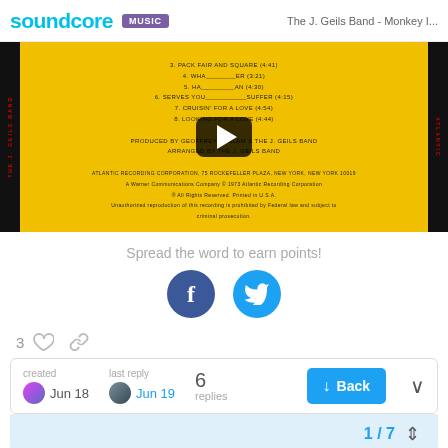soundcore MUSIC — The J. Geils Band - Monkey I...
[Figure (screenshot): Video thumbnail showing back of a yellow vinyl record album with track listing, with a play button overlay in the center. Black spine strips on left and right sides.]
Spread the word to earn points!
[Figure (infographic): Facebook and Twitter social share buttons as blue circular icons with f and bird logo]
3 ♡ 🔗
| created | last reply |  |  |  |
| --- | --- | --- | --- | --- |
| Jun 18 | Jun 19 | 6 replies | ↓ Back | ∨ |
1 / 7